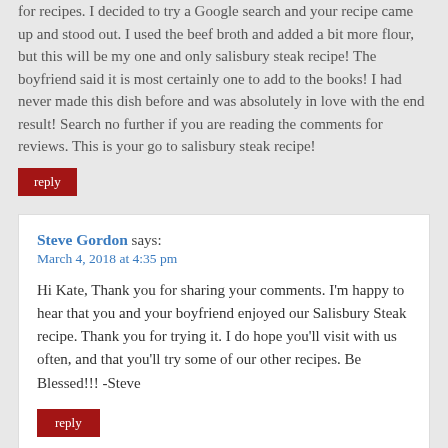for recipes. I decided to try a Google search and your recipe came up and stood out. I used the beef broth and added a bit more flour, but this will be my one and only salisbury steak recipe! The boyfriend said it is most certainly one to add to the books! I had never made this dish before and was absolutely in love with the end result! Search no further if you are reading the comments for reviews. This is your go to salisbury steak recipe!
reply
Steve Gordon says:
March 4, 2018 at 4:35 pm
Hi Kate, Thank you for sharing your comments. I'm happy to hear that you and your boyfriend enjoyed our Salisbury Steak recipe. Thank you for trying it. I do hope you'll visit with us often, and that you'll try some of our other recipes. Be Blessed!!! -Steve
reply
Tony Ditty says:
February 26, 2018 at 1:47 am